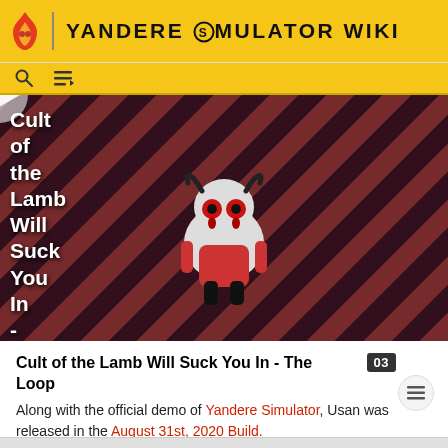YANDERE SIMULATOR WIKI
[Figure (screenshot): Video player showing 'Cult of the Lamb Will Suck You In - The Loop' with a cartoon lamb character on a striped red-black background, THE LOOP badge visible, play button in center, close X in top right]
Cult of the Lamb Will Suck You In - The Loop
Along with the official demo of Yandere Simulator, Usan was released in the August 31st, 2020 Build.